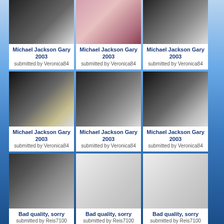[Figure (photo): Photo gallery grid of images labeled Michael Jackson Gary 2003 and Bad quality sorry, submitted by Veronica84 and Reis7100]
Michael Jackson Gary 2003 submitted by Veronica84
Michael Jackson Gary 2003 submitted by Veronica84
Michael Jackson Gary 2003 submitted by Veronica84
Michael Jackson Gary 2003 submitted by Veronica84
Michael Jackson Gary 2003 submitted by Veronica84
Michael Jackson Gary 2003 submitted by Veronica84
Bad quality, sorry submitted by Reis7100
Bad quality, sorry submitted by Reis7100
Bad quality, sorry submitted by Reis7100